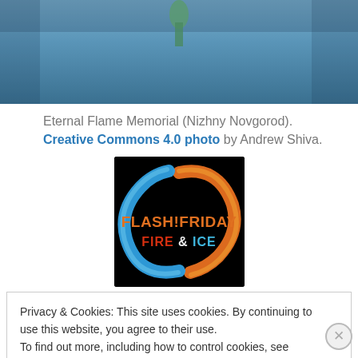[Figure (photo): Top portion of a photo showing a blue-toned outdoor scene, partially cropped, appears to be the Eternal Flame Memorial in Nizhny Novgorod.]
Eternal Flame Memorial (Nizhny Novgorod). Creative Commons 4.0 photo by Andrew Shiva.
[Figure (logo): Flash!Friday Fire & Ice logo — circular fire and ice dragon/flame design on black background with orange and blue text reading 'FLASH!FRIDAY FIRE & ICE']
Privacy & Cookies: This site uses cookies. By continuing to use this website, you agree to their use.
To find out more, including how to control cookies, see here: Cookie Policy
Close and accept